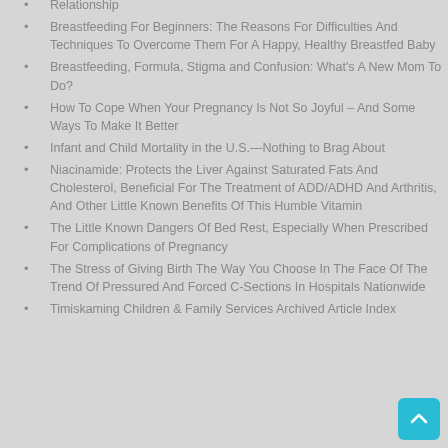Relationship
Breastfeeding For Beginners: The Reasons For Difficulties And Techniques To Overcome Them For A Happy, Healthy Breastfed Baby
Breastfeeding, Formula, Stigma and Confusion: What's A New Mom To Do?
How To Cope When Your Pregnancy Is Not So Joyful – And Some Ways To Make It Better
Infant and Child Mortality in the U.S.—Nothing to Brag About
Niacinamide: Protects the Liver Against Saturated Fats And Cholesterol, Beneficial For The Treatment of ADD/ADHD And Arthritis, And Other Little Known Benefits Of This Humble Vitamin
The Little Known Dangers Of Bed Rest, Especially When Prescribed For Complications of Pregnancy
The Stress of Giving Birth The Way You Choose In The Face Of The Trend Of Pressured And Forced C-Sections In Hospitals Nationwide
Timiskaming Children & Family Services Archived Article Index